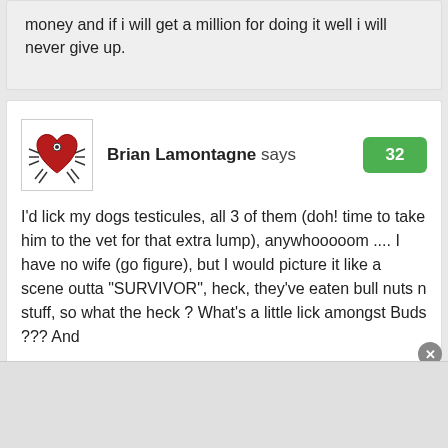money and if i will get a million for doing it well i will never give up.
Brian Lamontagne says
32
I’d lick my dogs testicules, all 3 of them (doh! time to take him to the vet for that extra lump), anywhooooom .... I have no wife (go figure), but I would picture it like a scene outta “SURVIVOR”, heck, they’ve eaten bull nuts n stuff, so what the heck ? What’s a little lick amongst Buds ??? And